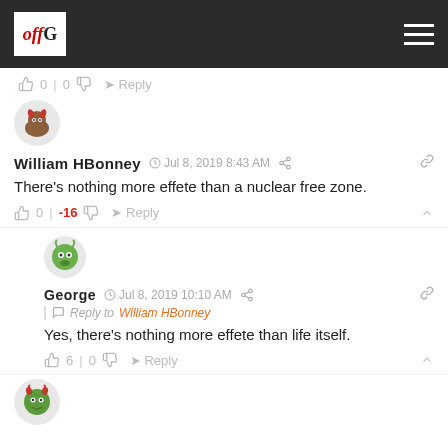offG navigation bar with logo and hamburger menu
👍 0 | 0 👎 → Reply
[Figure (illustration): Avatar of William HBonney — crab creature cartoon]
William HBonney  Jul 8, 2019 8:43 AM
There's nothing more effete than a nuclear free zone.
👍 0 | -16 👎 → Reply
[Figure (illustration): Avatar of George — green monster cartoon]
George  Jul 8, 2019 10:10 AM
Reply to William HBonney
Yes, there's nothing more effete than life itself.
👍 6 | 0 👎 → Reply
[Figure (illustration): Avatar of another user — green horned creature cartoon]